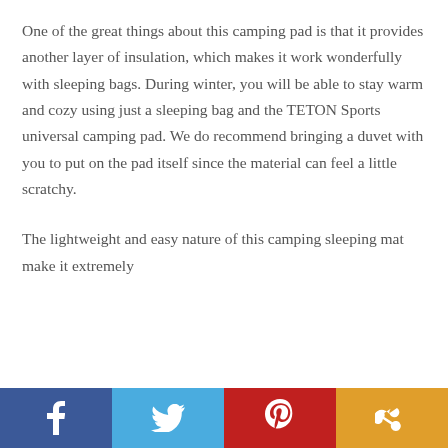One of the great things about this camping pad is that it provides another layer of insulation, which makes it work wonderfully with sleeping bags. During winter, you will be able to stay warm and cozy using just a sleeping bag and the TETON Sports universal camping pad. We do recommend bringing a duvet with you to put on the pad itself since the material can feel a little scratchy.
The lightweight and easy nature of this camping sleeping mat make it extremely